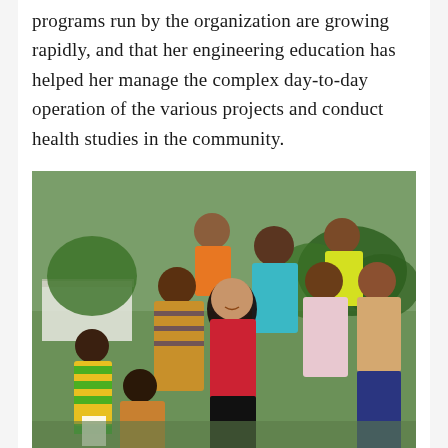programs run by the organization are growing rapidly, and that her engineering education has helped her manage the complex day-to-day operation of the various projects and conduct health studies in the community.
[Figure (photo): A group of young women and girls posing together outdoors. One woman of Asian descent with long dark hair is smiling in the center, surrounded by several African girls and young women. They are standing and sitting on what appears to be a low wall or ledge, with green grass and trees visible in the background, along with a white building. The group is wearing colorful clothing.]